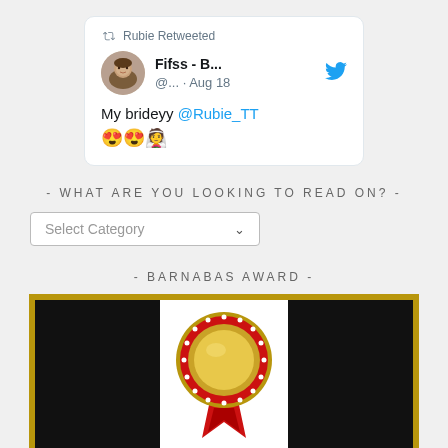[Figure (screenshot): Twitter retweet card showing 'Rubie Retweeted' with user Fifss - B... @... Aug 18, tweet text: 'My brideyy @Rubie_TT' with heart-eyes and bride emojis]
- WHAT ARE YOU LOOKING TO READ ON? -
[Figure (screenshot): Dropdown selector widget labeled 'Select Category' with a chevron arrow]
- BARNABAS AWARD -
[Figure (illustration): Gold and black framed award image with a red and gold medal/ribbon in the center on white background]